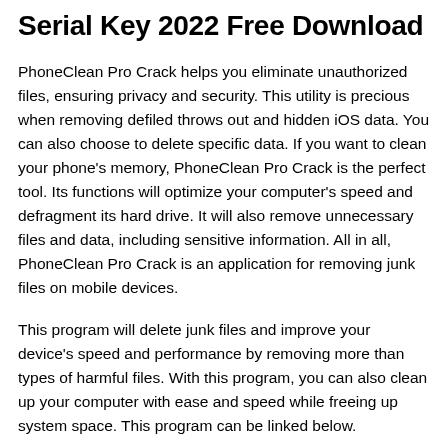Serial Key 2022 Free Download
PhoneClean Pro Crack helps you eliminate unauthorized files, ensuring privacy and security. This utility is precious when removing defiled throws out and hidden iOS data. You can also choose to delete specific data. If you want to clean your phone's memory, PhoneClean Pro Crack is the perfect tool. Its functions will optimize your computer's speed and defragment its hard drive. It will also remove unnecessary files and data, including sensitive information. All in all, PhoneClean Pro Crack is an application for removing junk files on mobile devices.
This program will delete junk files and improve your device's speed and performance by removing more than types of harmful files. With this program, you can also clean up your computer with ease and speed while freeing up system space. This program can be linked below.